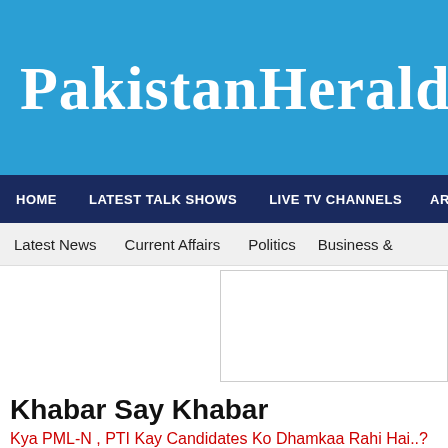PakistanHerald.com
HOME   LATEST TALK SHOWS   LIVE TV CHANNELS   ARTICLES
Latest News   Current Affairs   Politics   Business &
[Figure (other): Advertisement box, blank white rectangle with border]
Khabar Say Khabar
Kya PML-N , PTI Kay Candidates Ko Dhamkaa Rahi Hai..?
[Figure (screenshot): Video thumbnail showing 'Browser not compatible' message on dark background]